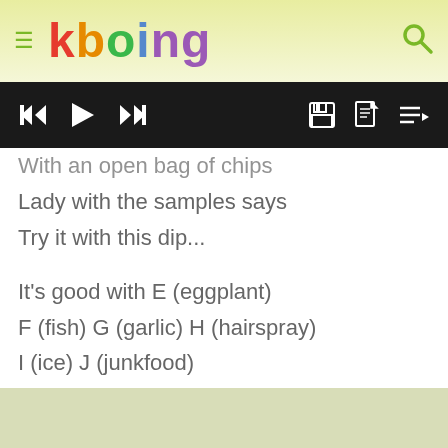kboing
[Figure (other): Media player control bar with skip-back, play, skip-forward, save, document, and playlist icons on black background]
With an open bag of chips
Lady with the samples says
Try it with this dip...
It's good with E (eggplant)
F (fish) G (garlic) H (hairspray)
I (ice) J (junkfood)
K (ketchup) L (liver...)
Go shopping from A to Z
I go shopping from A to Z